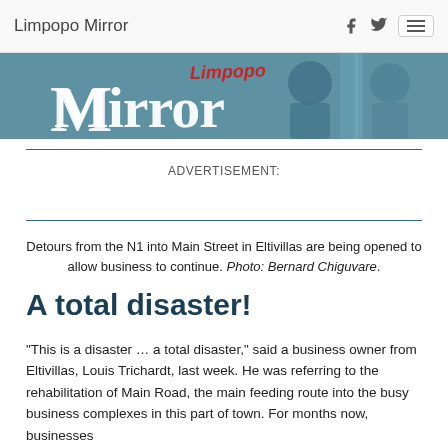Limpopo Mirror
[Figure (illustration): Limpopo Mirror newspaper banner/logo with two children in background, teal-toned photo]
ADVERTISEMENT:
Detours from the N1 into Main Street in Eltivillas are being opened to allow business to continue. Photo: Bernard Chiguvare.
A total disaster!
“This is a disaster … a total disaster,” said a business owner from Eltivillas, Louis Trichardt, last week. He was referring to the rehabilitation of Main Road, the main feeding route into the busy business complexes in this part of town. For months now, businesses